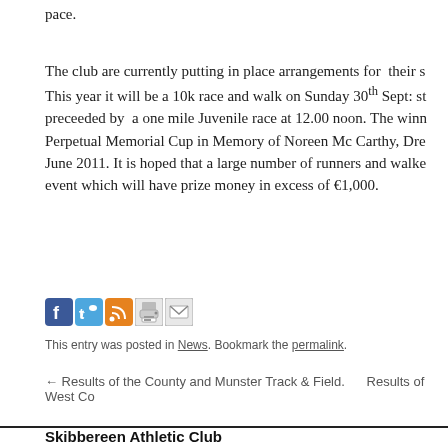pace.
The club are currently putting in place arrangements for their s... This year it will be a 10k race and walk on Sunday 30th Sept: st... preceeded by a one mile Juvenile race at 12.00 noon. The winn... Perpetual Memorial Cup in Memory of Noreen Mc Carthy, Dre... June 2011. It is hoped that a large number of runners and walke... event which will have prize money in excess of €1,000.
[Figure (other): Social media sharing icons: Facebook, Twitter, RSS, Print, Email]
This entry was posted in News. Bookmark the permalink.
← Results of the County and Munster Track & Field.    Results of West Co
Skibbereen Athletic Club